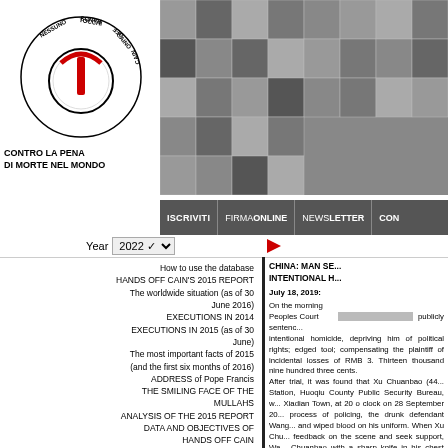[Figure (logo): Hands Off Cain circular logo with power button symbol and text around the edge reading NESSUNO TOCCHI CAINO, HANDS OFF CAIN]
CONTRO LA PENA
DI MORTE NEL MONDO
[Figure (photo): Grid of portrait photos of various individuals]
ISCRIVITI | FIRMA ONLINE | NEWSLETTER | CON
Year 2022
How to use the database
HANDS OFF CAIN'S 2015 REPORT
The worldwide situation (as of 30 June 2016)
EXECUTIONS IN 2014
EXECUTIONS IN 2015 (as of 30 June)
The most important facts of 2015 (and the first six months of 2016)
ADDRESS of Pope Francis
THE SMILING FACE OF THE MULLAHS
ANALYSIS OF THE 2015 REPORT
DATA AND OBJECTIVES OF HANDS OFF CAIN
Reportage by Sergio D'Elia
Reportage by Marco Perduca
"THE ABOLITIONIST OF THE YEAR 2015" AWARD
Protocol of understanding between NTC and CNF
CHINA: MAN SE... INTENTIONAL H...
July 18, 2019:
On the morning ... Peoples Court ... publicly sentenced ... intentional homicide, depriving him of political rights; edged tool; compensating the plaintiff of incidental losses of RMB 3. Thirteen thousand nine hundred three cents. After trial, it was found that Xu Chuanbao (44... Station, Huoqiu County Public Security Bureau, w... Xiadian Town, at 20 o clock on 28 September 20... process of policing, the drunk defendant Wang... and wiped blood on his uniform. When Xu Chu... feedback on the scene and seek support, Wa... Chuanbao with a sharp knife in his chest and ab... to the hospital and eventually rescued his invalid... The Intermediate Peoples Court of Luan City i... defendant Wang Yunli refused to cooperate with... obstructed the law enforcement, stabbed the law... and caused his death.